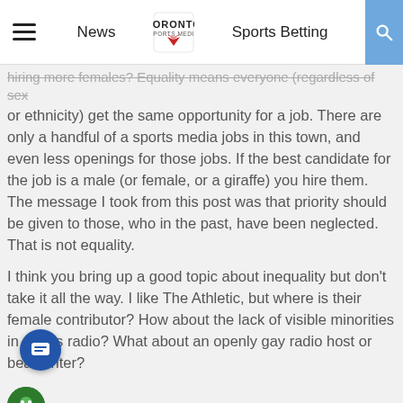News | Toronto Sports Media | Sports Betting
hiring more females? Equality means everyone (regardless of sex or ethnicity) get the same opportunity for a job. There are only a handful of a sports media jobs in this town, and even less openings for those jobs. If the best candidate for the job is a male (or female, or a giraffe) you hire them. The message I took from this post was that priority should be given to those, who in the past, have been neglected. That is not equality.
I think you bring up a good topic about inequality but don't take it all the way. I like The Athletic, but where is their female contributor? How about the lack of visible minorities in sports radio? What about an openly gay radio host or beat writer?
Brent in LA  ©  March 25, 2017 8:24 am
W...uz continue to do his stupid proline picks of the day? He's horrible.